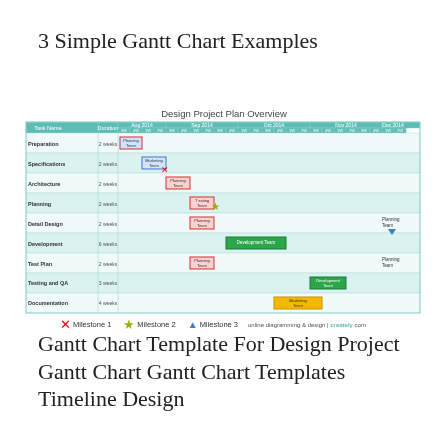3 Simple Gantt Chart Examples
Design Project Plan Overview
[Figure (other): Gantt chart showing a Design Project Plan Overview with tasks: Preparation (2 weeks), Specifications (2 weeks), Architecture (2 weeks), Planning (2 weeks), Detail Design (2 weeks), Development (6 weeks), Test Plan (2 weeks), Testing and QA (3 weeks), Documentation (4 weeks), spanning Aug 2014 to Dec 2014, with team assignments and milestones.]
Milestone 1   Milestone 2   Milestone 3   online diagramming & design | creately.com
Gantt Chart Template For Design Project Gantt Chart Gantt Chart Templates Timeline Design